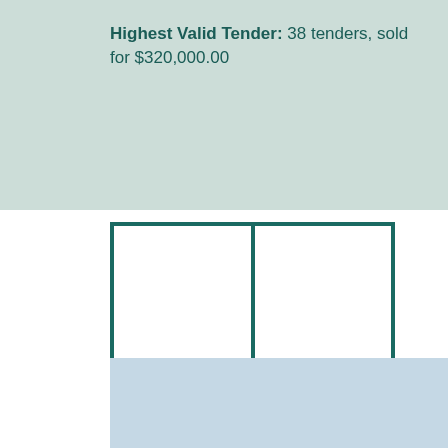Highest Valid Tender: 38 tenders, sold for $320,000.00
[Figure (other): Two empty white thumbnail boxes side by side with teal/dark green border, representing a property image gallery placeholder]
[Figure (photo): Exterior photo of a small grey/blue single-storey residential house surrounded by evergreen trees and bare deciduous trees, with snow patches on the ground, taken in winter.]